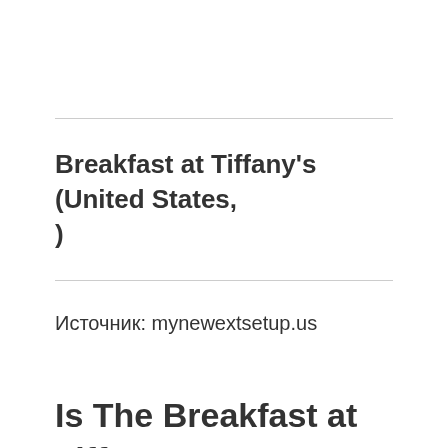Breakfast at Tiffany's (United States, )
Источник: mynewextsetup.us
Is The Breakfast at Tiff...